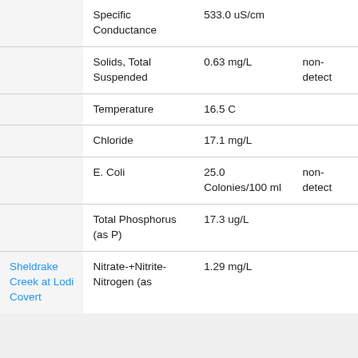| Location | Parameter | Value | Note |
| --- | --- | --- | --- |
|  | Specific Conductance | 533.0 uS/cm |  |
|  | Solids, Total Suspended | 0.63 mg/L | non-detect |
|  | Temperature | 16.5 C |  |
|  | Chloride | 17.1 mg/L |  |
|  | E. Coli | 25.0 Colonies/100 ml | non-detect |
|  | Total Phosphorus (as P) | 17.3 ug/L |  |
| Sheldrake Creek at Lodi Covert | Nitrate-+Nitrite-Nitrogen (as | 1.29 mg/L |  |